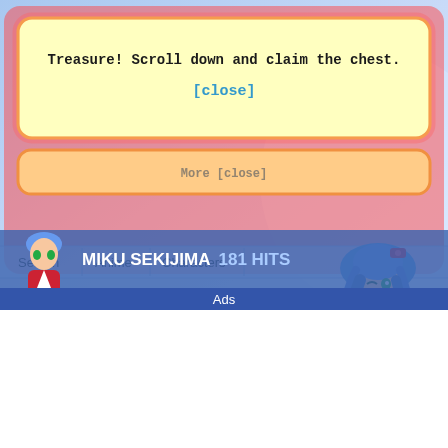[Figure (screenshot): Anime website screenshot showing a popup notification box over a blue-backgrounded page with anime character (Miku Sekijima), navigation bar, dice graphics, and an 'Ads' bar at the bottom. A yellow notification box says 'Treasure! Scroll down and claim the chest.' with a [close] link. An orange box behind it shows partially visible text. Navigation links: Search, Anime, Characters. Character info bar shows 'MIKU SEKIJIMA 181 HITS' with a thumbnail.]